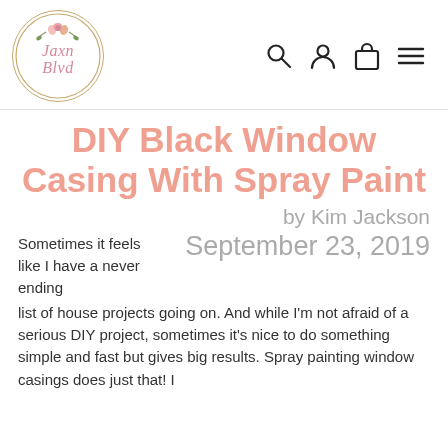[Figure (logo): Jaxn Blvd circular logo with floral decorations and script text in pink/rose color, gold circle border]
[Figure (other): Navigation icons: search (magnifying glass), user (person), cart (bag), menu (hamburger lines)]
DIY Black Window Casing With Spray Paint
by Kim Jackson
September 23, 2019
Sometimes it feels like I have a never ending list of house projects going on. And while I'm not afraid of a serious DIY project, sometimes it's nice to do something simple and fast but gives big results. Spray painting window casings does just that! I